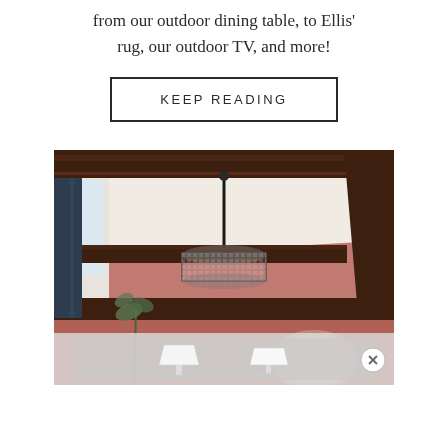from our outdoor dining table, to Ellis' rug, our outdoor TV, and more!
KEEP READING
[Figure (photo): Interior room photo showing a room with dark wood ceiling beams, terracotta/brownish-red walls, a crystal drum pendant chandelier hanging from a rod, dark navy curtains on the left, a plant, and a mirror. Below the main photo is a partially visible advertisement banner showing two white lamps on a light gray background, with an X close button in the bottom right corner.]